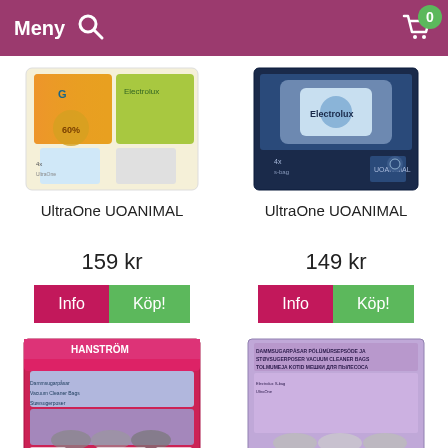Meny
[Figure (photo): Product image of UltraOne UOANIMAL vacuum cleaner bags - colorful packaging with orange and green elements]
[Figure (photo): Product image of UltraOne UOANIMAL vacuum cleaner bags - dark blue Electrolux packaging]
UltraOne UOANIMAL
UltraOne UOANIMAL
159 kr
149 kr
Info
Köp!
Info
Köp!
[Figure (photo): Product image of UltraOne UOANIMAL vacuum bags - Hanström pink/red packaging]
[Figure (photo): Product image of UltraOne UOANIMAL vacuum bags - purple/lavender packaging]
UltraOne UOANIMAL
UltraOne UOANIMAL